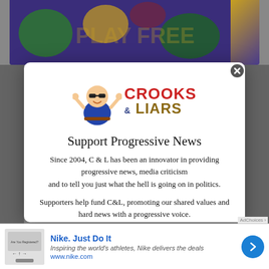[Figure (logo): Crooks and Liars logo with cartoon character mascot and stylized text CROOKS & LIARS in red and gold]
Support Progressive News
Since 2004, C & L has been an innovator in providing progressive news, media criticism and to tell you just what the hell is going on in politics.
Supporters help fund C&L, promoting our shared values and hard news with a progressive voice.
Consider becoming a supporter member today.
[Figure (screenshot): Nike advertisement banner: Nike. Just Do It — Inspiring the world's athletes, Nike delivers the deals — www.nike.com]